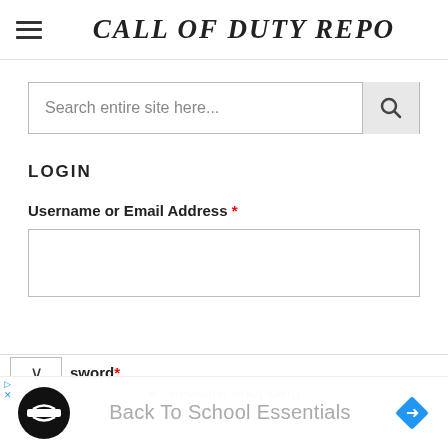CALL OF DUTY REPO
Search entire site here...
LOGIN
Username or Email Address *
sword *
✓ In-store shopping
Back To School Essentials